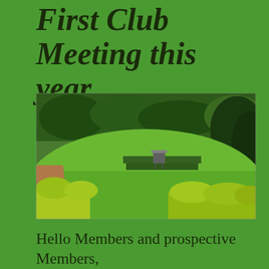First Club Meeting this year
[Figure (photo): Photograph of a well-maintained green garden with a manicured lawn, neatly trimmed hedges, ornamental shrubs, and a paved path visible on the left side.]
Hello Members and prospective Members,